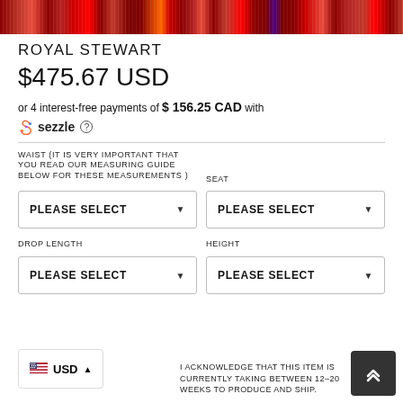[Figure (photo): Red tartan/plaid textile fabric banner at top of page]
ROYAL STEWART
$475.67 USD
or 4 interest-free payments of $ 156.25 CAD with sezzle
WAIST (IT IS VERY IMPORTANT THAT YOU READ OUR MEASURING GUIDE BELOW FOR THESE MEASUREMENTS )
SEAT
PLEASE SELECT
PLEASE SELECT
DROP LENGTH
HEIGHT
PLEASE SELECT
PLEASE SELECT
I ACKNOWLEDGE THAT THIS ITEM IS CURRENTLY TAKING BETWEEN 12-20 WEEKS TO PRODUCE AND SHIP.
USD